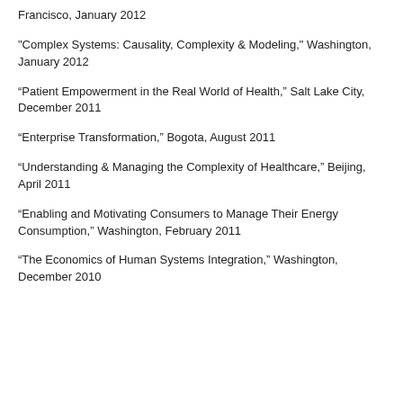Francisco, January 2012
"Complex Systems: Causality, Complexity & Modeling," Washington, January 2012
“Patient Empowerment in the Real World of Health, ” Salt Lake City, December 2011
“Enterprise Transformation,” Bogota, August 2011
“Understanding & Managing the Complexity of Healthcare,” Beijing, April 2011
“Enabling and Motivating Consumers to Manage Their Energy Consumption,” Washington, February 2011
“The Economics of Human Systems Integration,” Washington, December 2010